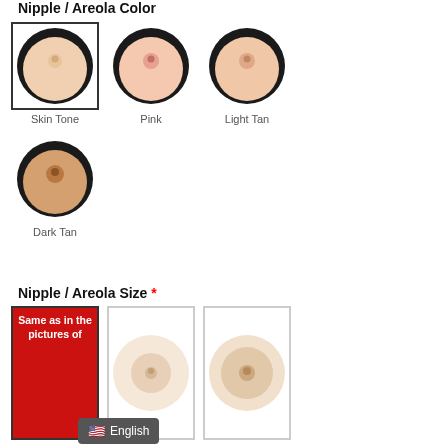Nipple / Areola Color
[Figure (photo): Four color options for nipple/areola: Skin Tone (selected, with border), Pink, Light Tan, Dark Tan — each shown as a circular silicone prosthetic photo]
Nipple / Areola Size *
[Figure (photo): Three size options for nipple/areola: 'Same as in the pictures of...' (red card, selected with border), and two circular silicone prosthetic size photos]
English